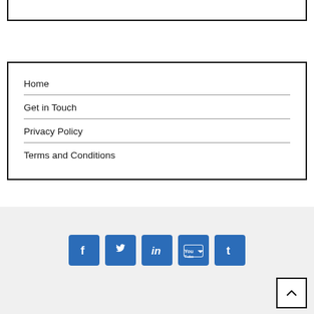Home
Get in Touch
Privacy Policy
Terms and Conditions
[Figure (infographic): Social media icon buttons: Facebook, Twitter, LinkedIn, YouTube, Tumblr — blue rounded square buttons]
[Figure (other): Back to top button with upward caret arrow]